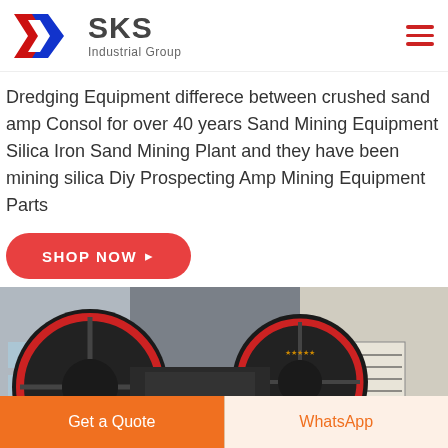[Figure (logo): SKS Industrial Group logo with red and blue K letter mark and company name]
Dredging Equipment differece between crushed sand amp Consol for over 40 years Sand Mining Equipment Silica Iron Sand Mining Plant and they have been mining silica Diy Prospecting Amp Mining Equipment Parts
SHOP NOW →
[Figure (photo): Industrial mining jaw crusher machine with large black flywheel with red ring, photographed in front of a building]
Get a Quote
WhatsApp